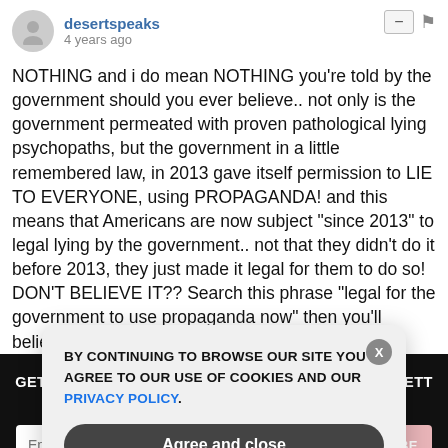desertspeaks — 4 years ago
NOTHING and i do mean NOTHING you're told by the government should you ever believe.. not only is the government permeated with proven pathological lying psychopaths, but the government in a little remembered law, in 2013 gave itself permission to LIE TO EVERYONE, using PROPAGANDA! and this means that Americans are now subject "since 2013" to legal lying by the government.. not that they didn't do it before 2013, they just made it legal for them to do so! DON'T BELIEVE IT?? Search this phrase "legal for the government to use propaganda now" then you'll believe it!
[Figure (screenshot): Dark newsletter signup banner with text: GET THE WORLD'S BEST NATURAL HEALTH NEWSLETTER DELIVERED STRAIGHT TO YOUR INBOX, email input field, and SUBSCRIBE button]
[Figure (screenshot): Cookie consent modal overlay with text: BY CONTINUING TO BROWSE OUR SITE YOU AGREE TO OUR USE OF COOKIES AND OUR PRIVACY POLICY. with Agree and close button and X close button]